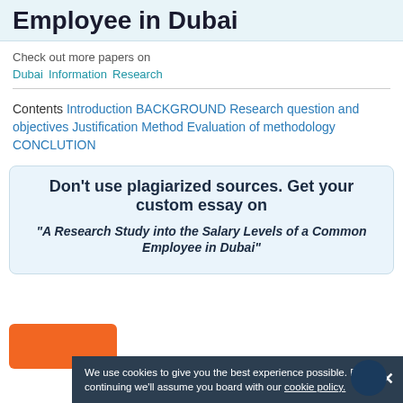Employee in Dubai
Check out more papers on
Dubai  Information  Research
Contents Introduction BACKGROUND Research question and objectives Justification Method Evaluation of methodology CONCLUTION
Don't use plagiarized sources. Get your custom essay on
"A Research Study into the Salary Levels of a Common Employee in Dubai"
We use cookies to give you the best experience possible. By continuing we'll assume you board with our cookie policy.